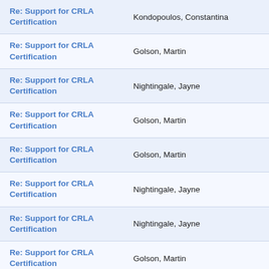| Subject | Sender |
| --- | --- |
| Re: Support for CRLA Certification | Kondopoulos, Constantina |
| Re: Support for CRLA Certification | Golson, Martin |
| Re: Support for CRLA Certification | Nightingale, Jayne |
| Re: Support for CRLA Certification | Golson, Martin |
| Re: Support for CRLA Certification | Golson, Martin |
| Re: Support for CRLA Certification | Nightingale, Jayne |
| Re: Support for CRLA Certification | Nightingale, Jayne |
| Re: Support for CRLA Certification | Golson, Martin |
| Re: Support for CRLA Certification | (partial) |